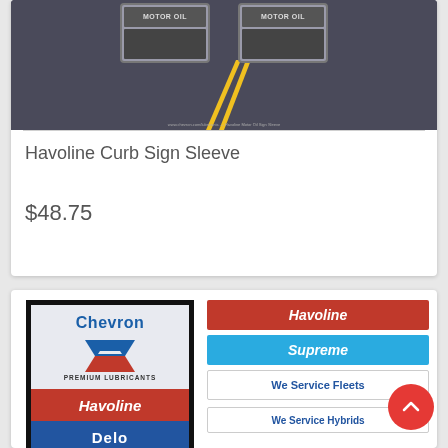[Figure (photo): Havoline Curb Sign Sleeve product image showing two sign boxes on a road background with yellow center lines]
Havoline Curb Sign Sleeve
$48.75
[Figure (photo): Chevron Premium Lubricants sign display showing a branded curb sign with Chevron logo, Havoline and Delo panels on the left, and separate Havoline, Supreme, We Service Fleets, and We Service Hybrids panels on the right]